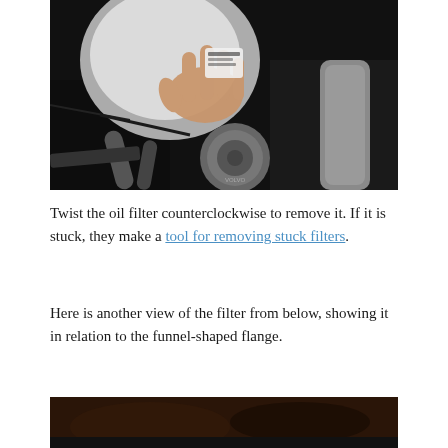[Figure (photo): A hand reaching into an engine bay, grasping what appears to be an oil filter. Dark engine components including hoses, a round metal part (possibly a pump or filter housing), and other engine parts are visible.]
Twist the oil filter counterclockwise to remove it. If it is stuck, they make a tool for removing stuck filters.
Here is another view of the filter from below, showing it in relation to the funnel-shaped flange.
[Figure (photo): A partial view of a filter from below, showing its relation to a funnel-shaped flange. Dark background with brown/dark tones.]